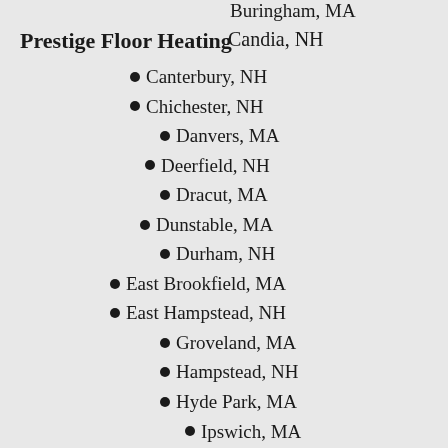...ingham, MA (partial, cut off at top)
Prestige Floor Heating
Candia, NH
Canterbury, NH
Chichester, NH
Danvers, MA
Deerfield, NH
Dracut, MA
Dunstable, MA
Durham, NH
East Brookfield, MA
East Hampstead, NH
Groveland, MA
Hampstead, NH
Hyde Park, MA
Ipswich, MA
Kingston, NH
Middleton, MA
Millbury, MA
New Town, MA
Newton, NH
Nortonville, MA (partial)